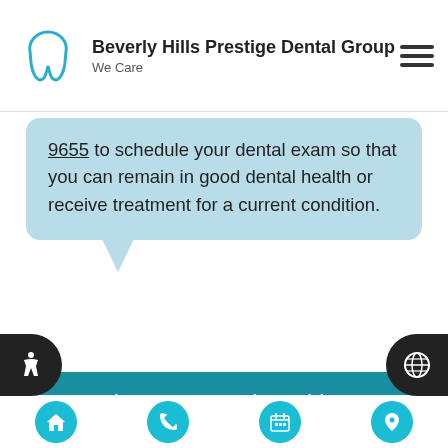[Figure (logo): Beverly Hills Prestige Dental Group logo with tooth icon]
9655 to schedule your dental exam so that you can remain in good dental health or receive treatment for a current condition.
Questions Answered on This Page
Q. What is the cause of gum disease?
Q. What are the signs of gum disease?
Q. What will gum disease do to my teeth?